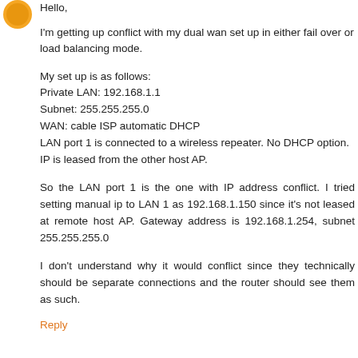[Figure (illustration): Orange circular avatar icon]
Hello,
I'm getting up conflict with my dual wan set up in either fail over or load balancing mode.
My set up is as follows:
Private LAN: 192.168.1.1
Subnet: 255.255.255.0
WAN: cable ISP automatic DHCP
LAN port 1 is connected to a wireless repeater. No DHCP option. IP is leased from the other host AP.
So the LAN port 1 is the one with IP address conflict. I tried setting manual ip to LAN 1 as 192.168.1.150 since it's not leased at remote host AP. Gateway address is 192.168.1.254, subnet 255.255.255.0
I don't understand why it would conflict since they technically should be separate connections and the router should see them as such.
Reply